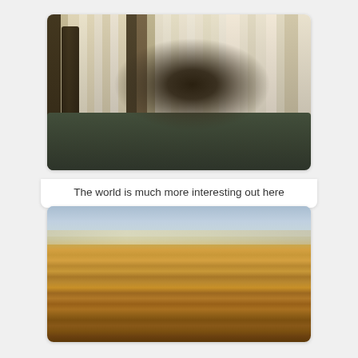[Figure (photo): A dark cat peering through vertical white window blinds, with a dark ornate lamp on the left and a dark green couch/sofa in the foreground.]
The world is much more interesting out here
[Figure (photo): Aerial view of a suburban neighborhood in autumn, with dense orange and yellow foliage covering most of the landscape, houses visible below, and a pale overcast sky on the horizon.]